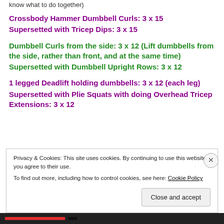know what to do together)
Crossbody Hammer Dumbbell Curls: 3 x 15
Supersetted with Tricep Dips: 3 x 15
Dumbbell Curls from the side: 3 x 12 (Lift dumbbells from the side, rather than front, and at the same time)
Supersetted with Dumbbell Upright Rows: 3 x 12
1 legged Deadlift holding dumbbells: 3 x 12 (each leg)
Supersetted with Plie Squats with doing Overhead Tricep Extensions: 3 x 12
Privacy & Cookies: This site uses cookies. By continuing to use this website, you agree to their use.
To find out more, including how to control cookies, see here: Cookie Policy
Close and accept